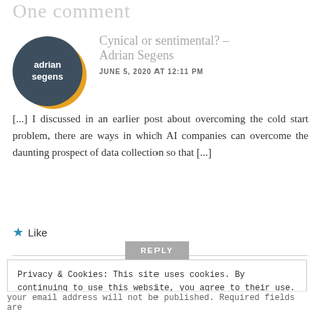One comment
Cynical or sentimental? – Adrian Segens
JUNE 5, 2020 AT 12:11 PM
[...] I discussed in an earlier post about overcoming the cold start problem, there are ways in which AI companies can overcome the daunting prospect of data collection so that [...]
Like
REPLY
Privacy & Cookies: This site uses cookies. By continuing to use this website, you agree to their use.
To find out more, including how to control cookies, see here:
Cookie Policy
That's OK
your email address will not be published. Required fields are